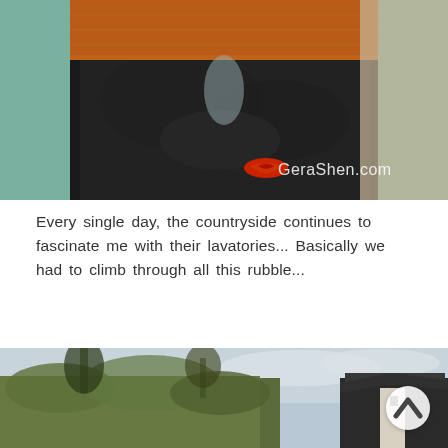[Figure (photo): Close-up photo of a person wearing an orange/rust knit sweater and teal long-sleeve shirt, with dark puffy jacket. Watermark 'GeraShen.com' with red lips logo visible in lower right.]
Every single day, the countryside continues to fascinate me with their lavatories... Basically we had to climb through all this rubble...
[Figure (photo): Outdoor photo showing a large overgrown hillside with grass and shrubs, a traditional Japanese-style roof/gate structure visible on the right side. Overcast sky in background.]